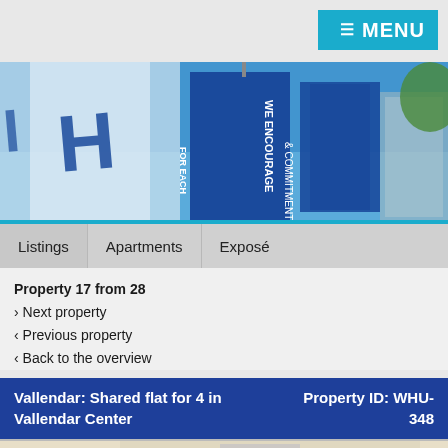MENU
[Figure (photo): Outdoor photo showing WHU flags and banners against a blue sky, with text 'WHU' and 'WE ENCOURAGE COMMITMENT' visible on blue flags]
Listings  Apartments  Exposé
Property 17 from 28
> Next property
< Previous property
< Back to the overview
Vallendar: Shared flat for 4 in Vallendar Center
Property ID: WHU-348
[Figure (photo): Photo of a building entrance showing number 2 on a beige/cream facade]